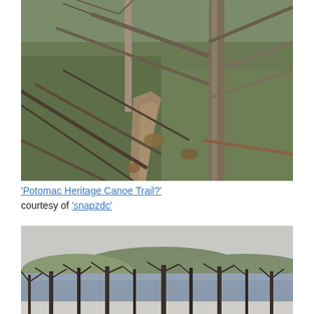[Figure (photo): A dirt trail path leading through bare winter trees on a grassy hillside, viewed from behind tree branches in the foreground.]
'Potomac Heritage Canoe Trail?' courtesy of 'snapzdc'
[Figure (photo): A wide river scene with bare winter trees in the foreground and hills visible in the background under an overcast sky.]